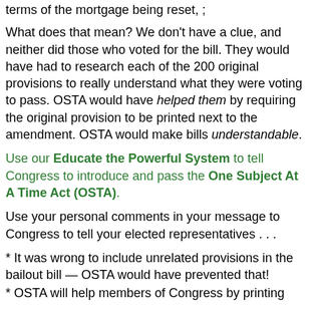terms of the mortgage being reset, ;
What does that mean? We don't have a clue, and neither did those who voted for the bill. They would have had to research each of the 200 original provisions to really understand what they were voting to pass. OSTA would have helped them by requiring the original provision to be printed next to the amendment. OSTA would make bills understandable.
Use our Educate the Powerful System to tell Congress to introduce and pass the One Subject At A Time Act (OSTA).
Use your personal comments in your message to Congress to tell your elected representatives . . .
* It was wrong to include unrelated provisions in the bailout bill — OSTA would have prevented that!
* OSTA will help members of Congress by printing